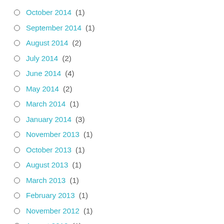October 2014 (1)
September 2014 (1)
August 2014 (2)
July 2014 (2)
June 2014 (4)
May 2014 (2)
March 2014 (1)
January 2014 (3)
November 2013 (1)
October 2013 (1)
August 2013 (1)
March 2013 (1)
February 2013 (1)
November 2012 (1)
August 2012 (1)